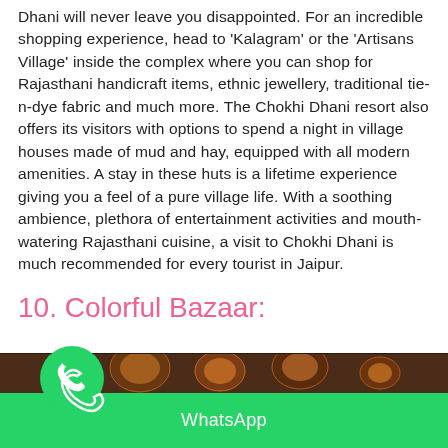Dhani will never leave you disappointed. For an incredible shopping experience, head to 'Kalagram' or the 'Artisans Village' inside the complex where you can shop for Rajasthani handicraft items, ethnic jewellery, traditional tie-n-dye fabric and much more. The Chokhi Dhani resort also offers its visitors with options to spend a night in village houses made of mud and hay, equipped with all modern amenities. A stay in these huts is a lifetime experience giving you a feel of a pure village life. With a soothing ambience, plethora of entertainment activities and mouth-watering Rajasthani cuisine, a visit to Chokhi Dhani is much recommended for every tourist in Jaipur.
10. Colorful Bazaar:
[Figure (photo): Photo of colorful decorative bazaar lamps/lanterns, ornate copper/bronze metalwork items hanging in a market stall]
WhatsApp